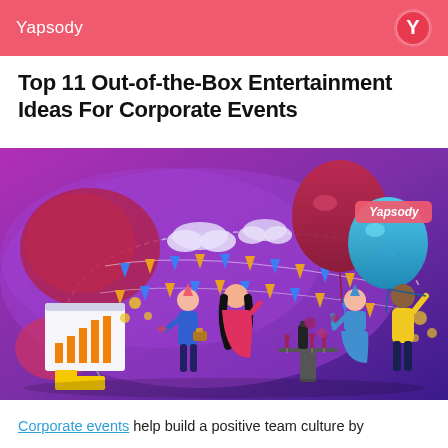Yapsody
Top 11 Out-of-the-Box Entertainment Ideas For Corporate Events
[Figure (illustration): Colorful vector illustration of a corporate party event with people celebrating, balloons, bunting flags, presentation board with bar chart, wine glasses, and the Yapsody logo watermark on a purple/pink gradient background.]
Corporate events help build a positive team culture by